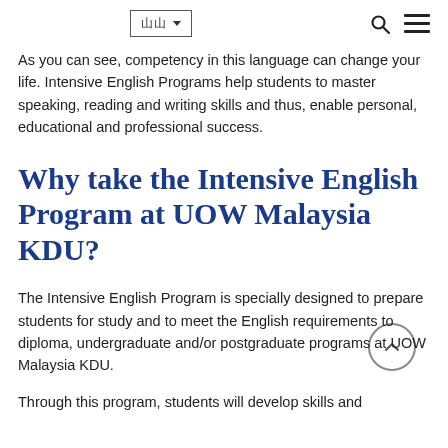Language selector and navigation icons
As you can see, competency in this language can change your life. Intensive English Programs help students to master speaking, reading and writing skills and thus, enable personal, educational and professional success.
Why take the Intensive English Program at UOW Malaysia KDU?
The Intensive English Program is specially designed to prepare students for study and to meet the English requirements to diploma, undergraduate and/or postgraduate programs at UOW Malaysia KDU.
Through this program, students will develop skills and